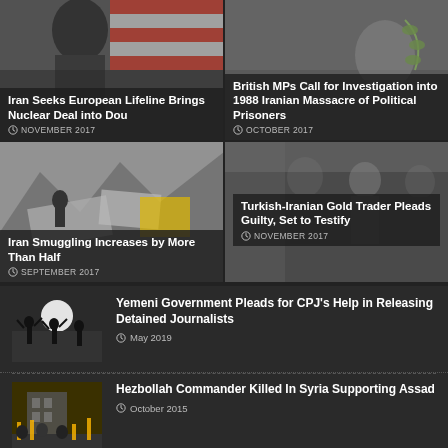[Figure (photo): Iran mural/artwork photo]
Iran Seeks European Lifeline Brings Nuclear Deal into Doubt
NOVEMBER 2017
[Figure (photo): Iranian political context photo]
British MPs Call for Investigation into 1988 Iranian Massacre of Political Prisoners
OCTOBER 2017
[Figure (photo): Iran smuggling scene photo]
Iran Smuggling Increases by More Than Half
SEPTEMBER 2017
[Figure (photo): Turkish-Iranian gold trader photo]
Turkish-Iranian Gold Trader Pleads Guilty, Set to Testify
NOVEMBER 2017
[Figure (photo): Yemen armed fighters silhouette photo]
Yemeni Government Pleads for CPJ's Help in Releasing Detained Journalists
May 2019
[Figure (photo): Hezbollah rally photo]
Hezbollah Commander Killed In Syria Supporting Assad
October 2015